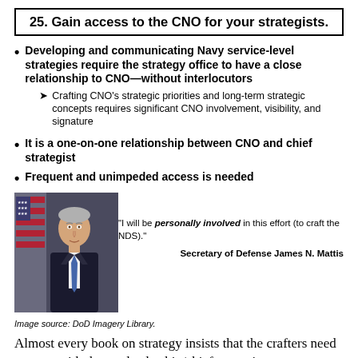25. Gain access to the CNO for your strategists.
Developing and communicating Navy service-level strategies require the strategy office to have a close relationship to CNO—without interlocutors
Crafting CNO's strategic priorities and long-term strategic concepts requires significant CNO involvement, visibility, and signature
It is a one-on-one relationship between CNO and chief strategist
Frequent and unimpeded access is needed
[Figure (photo): Official portrait photo of Secretary of Defense James N. Mattis in a suit with American flag in background]
"I will be personally involved in this effort (to craft the NDS)."
Secretary of Defense James N. Mattis
Image source: DoD Imagery Library.
Almost every book on strategy insists that the crafters need to meet with the top leadership/chief executive